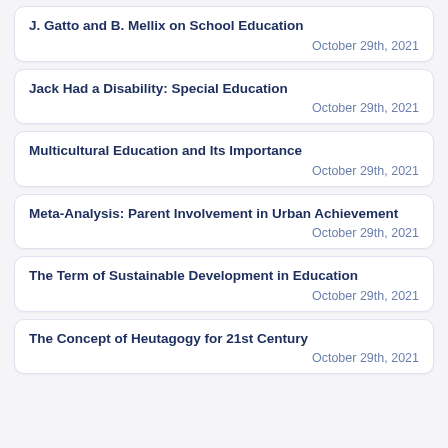J. Gatto and B. Mellix on School Education
October 29th, 2021
Jack Had a Disability: Special Education
October 29th, 2021
Multicultural Education and Its Importance
October 29th, 2021
Meta-Analysis: Parent Involvement in Urban Achievement
October 29th, 2021
The Term of Sustainable Development in Education
October 29th, 2021
The Concept of Heutagogy for 21st Century
October 29th, 2021